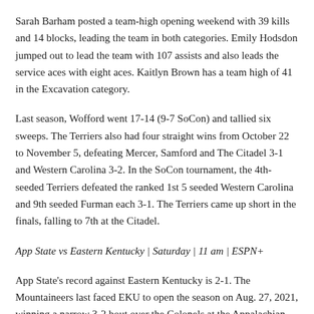Sarah Barham posted a team-high opening weekend with 39 kills and 14 blocks, leading the team in both categories. Emily Hodsdon jumped out to lead the team with 107 assists and also leads the service aces with eight aces. Kaitlyn Brown has a team high of 41 in the Excavation category.
Last season, Wofford went 17-14 (9-7 SoCon) and tallied six sweeps. The Terriers also had four straight wins from October 22 to November 5, defeating Mercer, Samford and The Citadel 3-1 and Western Carolina 3-2. In the SoCon tournament, the 4th-seeded Terriers defeated the ranked 1st 5 seeded Western Carolina and 9th seeded Furman each 3-1. The Terriers came up short in the finals, falling to 7th at the Citadel.
App State vs Eastern Kentucky | Saturday | 11 am | ESPN+
App State's record against Eastern Kentucky is 2-1. The Mountaineers last faced EKU to open the season on Aug. 27, 2021, winning a narrow 3-2 bout over the Colonels at the Appalachian Invitational in Boone. Denny had 12 kills and two serve aces against the Colonels. Sam Bickley also had two service